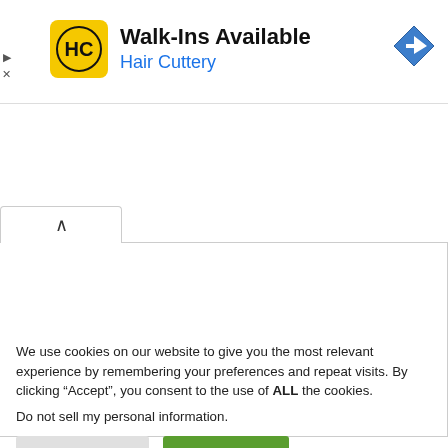[Figure (screenshot): Hair Cuttery advertisement banner with yellow HC logo, text 'Walk-Ins Available' and 'Hair Cuttery' in blue, and a blue navigation/directions diamond icon on the right. Small play and close (X) controls on the left edge.]
[Figure (screenshot): Collapsed content area with a white tab showing an up-caret (^) symbol, and a bordered empty white region below it.]
We use cookies on our website to give you the most relevant experience by remembering your preferences and repeat visits. By clicking “Accept”, you consent to the use of ALL the cookies.
Do not sell my personal information.
Cookie Settings
Accept